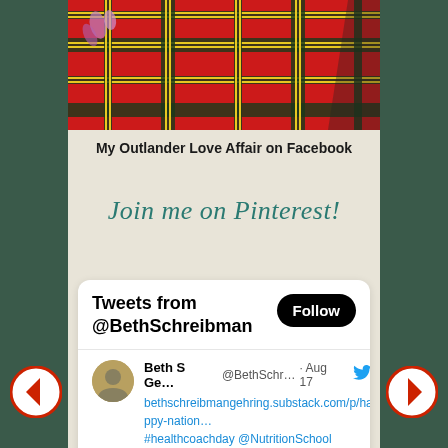[Figure (photo): Cropped top portion of a red tartan/plaid fabric with heather flowers visible, shown as a decorative banner image]
My Outlander Love Affair on Facebook
Join me on Pinterest!
[Figure (screenshot): Twitter widget showing 'Tweets from @BethSchreibman' with a Follow button, and a tweet from Beth S Ge... (@BethSchr...) dated Aug 17 containing link bethschreibmangehring.substack.com/p/happy-nation... #healthcoachday @NutritionSchool]
[Figure (other): Left navigation arrow (red circular back arrow)]
[Figure (other): Right navigation arrow (red circular forward arrow)]